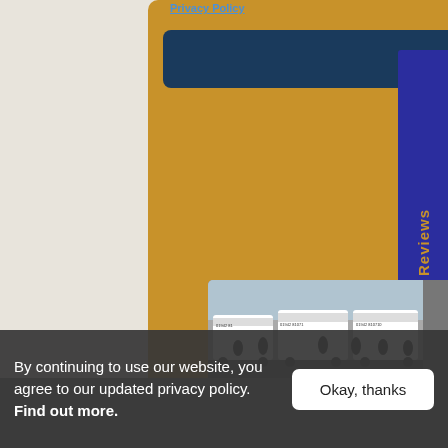Privacy Policy
SEND
Read Our Reviews
[Figure (photo): Group photo of staff in black uniforms standing in front of white company vans with phone number 01942 810710 printed on the sides, in a car park]
[Figure (photo): Partial view of a grey/dark interior scene at the bottom of the page]
By continuing to use our website, you agree to our updated privacy policy. Find out more.
Okay, thanks